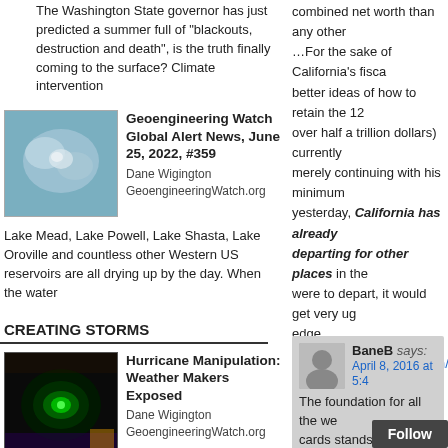The Washington State governor has just predicted a summer full of "blackouts, destruction and death", is the truth finally coming to the surface? Climate intervention
[Figure (photo): Satellite image thumbnail for Geoengineering Watch Global Alert News article]
Geoengineering Watch Global Alert News, June 25, 2022, #359
Dane Wigington
GeoengineeringWatch.org
Lake Mead, Lake Powell, Lake Shasta, Lake Oroville and countless other Western US reservoirs are all drying up by the day. When the water
CREATING STORMS
[Figure (photo): Radar/satellite image thumbnail for Hurricane Manipulation article]
Hurricane Manipulation: Weather Makers Exposed
Dane Wigington
GeoengineeringWatch.org
Climate engineering operations are the crown jewel of the military industrial complex. A quiet weapon for silent warfare. A weapon with which entire populations can be brought
combined net worth than any other
…For the sake of California's fisca
better ideas of how to retain the 12
over half a trillion dollars) currently
merely continuing with his minimum
yesterday, California has already
departing for other places in the
were to depart, it would get very ug
edge.
http://www.zerohedge.com/news/2
most-billionaires
BaneB says:
April 8, 2016 at 5:4
The foundation for all the we
cards stands because of oil
eye, the fact
Follow